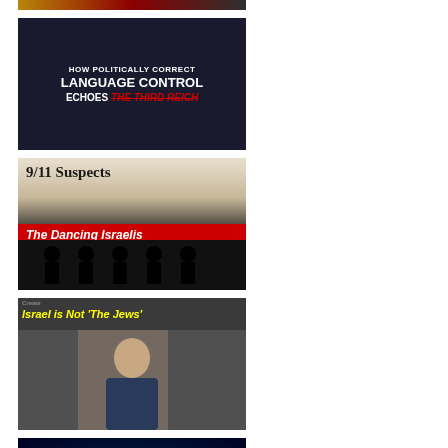[Figure (screenshot): Partial thumbnail strip at top showing dark text/image content]
[Figure (screenshot): Thumbnail: 'HOW POLITICALLY CORRECT LANGUAGE CONTROL ECHOES THE THIRD REICH' - dark background with white and red text, figures in background]
[Figure (screenshot): Thumbnail: '9/11 Suspects - The Dancing Israelis' - silhouettes of five people in a police lineup style, red banner]
[Figure (screenshot): Thumbnail: 'Israel is Not The Jews' - man in front of store with yellow italic text]
[Figure (screenshot): Thumbnail: 'Blackstone Intelligence' with globe image and red text 'The Deep State Con...']